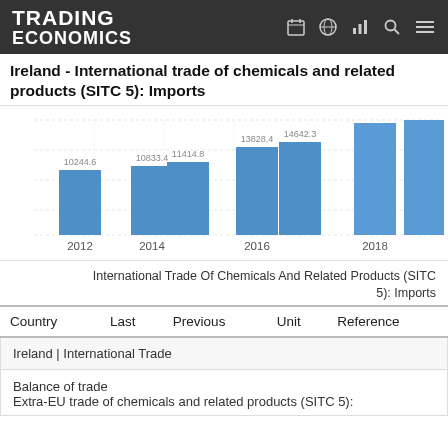TRADING ECONOMICS
Ireland - International trade of chemicals and related products (SITC 5): Imports
[Figure (bar-chart): Ireland - International trade of chemicals and related products (SITC 5): Imports]
International Trade Of Chemicals And Related Products (SITC 5): Imports
| Country | Last | Previous | Unit | Reference |
| --- | --- | --- | --- | --- |
Ireland | International Trade
Balance of trade
Extra-EU trade of chemicals and related products (SITC 5):